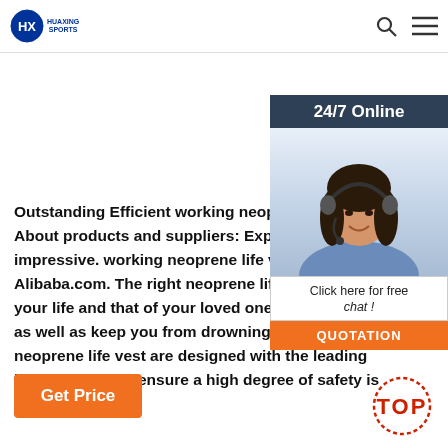HUAXING SPORTS
[Figure (infographic): Customer service representative chat widget with '24/7 Online' header, photo of woman with headset, 'Click here for free chat!' text, and QUOTATION button]
Outstanding Efficient working neoprene life vest About products and suppliers: Explore selection of impressive. working neoprene life vest available at Alibaba.com. The right neoprene life vest can save your life and that of your loved ones and colleagues as well as keep you from drowning. The. working neoprene life vest are designed with the leading innovations that ensure a high degree of safety is maintained.
Get Price
[Figure (infographic): TOP scroll-to-top button with dotted circle border in red/orange]